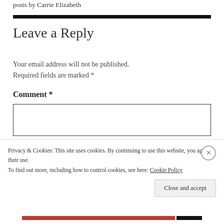posts by Carrie Elizabeth
Leave a Reply
Your email address will not be published. Required fields are marked *
Comment *
Privacy & Cookies: This site uses cookies. By continuing to use this website, you agree to their use.
To find out more, including how to control cookies, see here: Cookie Policy
Close and accept